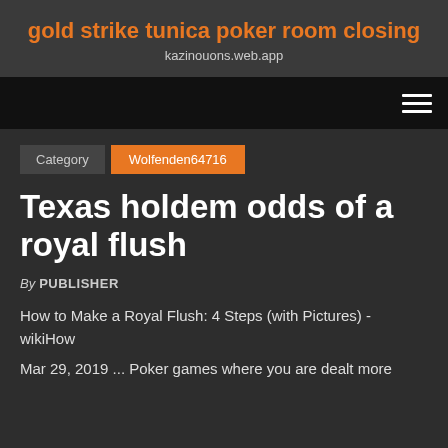gold strike tunica poker room closing
kazinouons.web.app
Category   Wolfenden64716
Texas holdem odds of a royal flush
By PUBLISHER
How to Make a Royal Flush: 4 Steps (with Pictures) - wikiHow
Mar 29, 2019 ... Poker games where you are dealt more